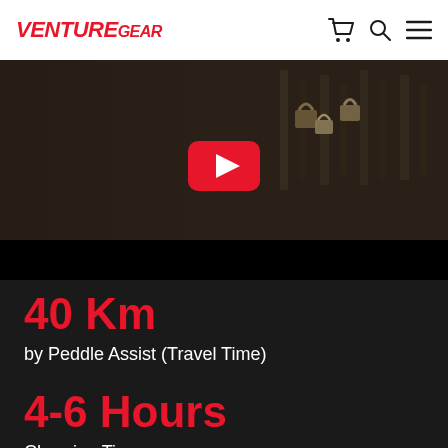VENTURE GEAR
[Figure (screenshot): YouTube video embed showing a dark background with padlocks, with a red YouTube play button in the center]
40 Km
by Peddle Assist (Travel Time)
4-6 Hours
Charging Time and Life